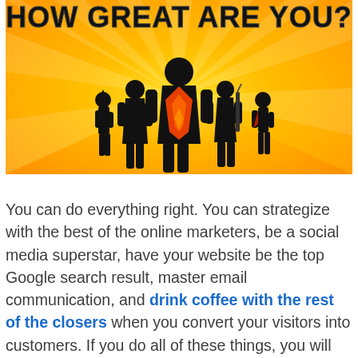[Figure (illustration): Promotional illustration with yellow/orange radial sunburst background. Text at top reads 'HOW GREAT ARE YOU?' in bold black outlined font. Silhouettes of five superhero-style figures stand in the foreground center, with red/orange flame or shield shapes visible among them.]
You can do everything right. You can strategize with the best of the online marketers, be a social media superstar, have your website be the top Google search result, master email communication, and drink coffee with the rest of the closers when you convert your visitors into customers. If you do all of these things, you will generate revenue from your website